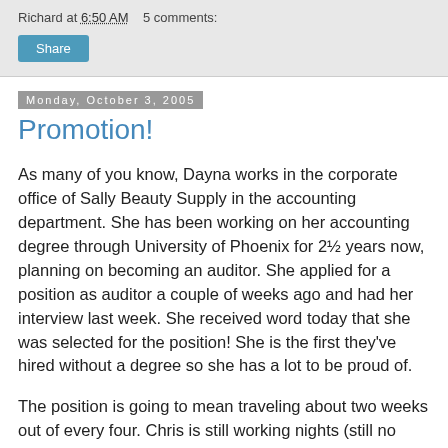Richard at 6:50 AM    5 comments:
Share
Monday, October 3, 2005
Promotion!
As many of you know, Dayna works in the corporate office of Sally Beauty Supply in the accounting department. She has been working on her accounting degree through University of Phoenix for 2½ years now, planning on becoming an auditor. She applied for a position as auditor a couple of weeks ago and had her interview last week. She received word today that she was selected for the position! She is the first they've hired without a degree so she has a lot to be proud of.
The position is going to mean traveling about two weeks out of every four. Chris is still working nights (still no word from Peterbilt) and so this is going to present some challenges for home life. There is an RV park across the main highway from their house that we've told them we would move to if it would